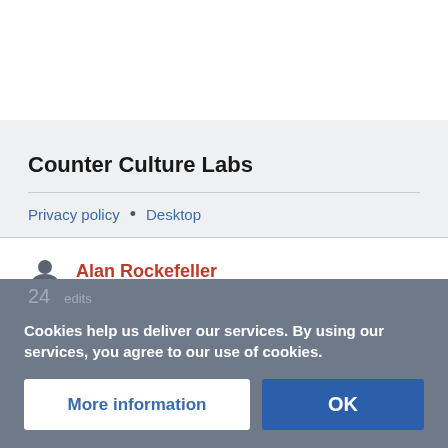Counter Culture Labs
Privacy policy • Desktop
Alan Rockefeller
Cookies help us deliver our services. By using our services, you agree to our use of cookies.
More information
OK